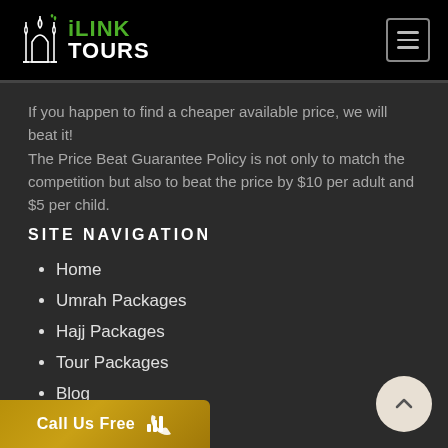iLINK TOURS
If you happen to find a cheaper available price, we will beat it! The Price Beat Guarantee Policy is not only to match the competition but also to beat the price by $10 per adult and $5 per child.
SITE NAVIGATION
Home
Umrah Packages
Hajj Packages
Tour Packages
Blog
Contact Us